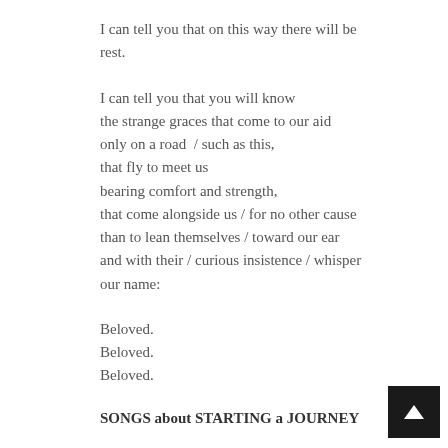I can tell you that on this way there will be rest.
I can tell you that you will know
the strange graces that come to our aid
only on a road  / such as this,
that fly to meet us
bearing comfort and strength,
that come alongside us / for no other cause
than to lean themselves / toward our ear
and with their / curious insistence / whisper our name:
Beloved.
Beloved.
Beloved.
SONGS about STARTING a JOURNEY